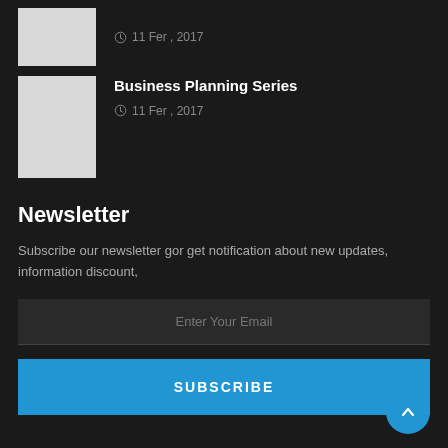[Figure (photo): Small white/gray thumbnail image for article 1]
11 Fer , 2017
[Figure (photo): Small white/gray thumbnail image for Business Planning Series]
Business Planning Series
11 Fer , 2017
Newsletter
Subscribe our newsletter gor get notification about new updates, information discount,
Enter Your Email
SUBSCRIBE